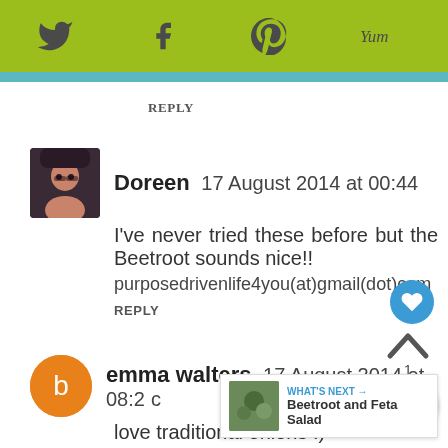[Figure (screenshot): Social media toolbar with Twitter, Facebook, Pinterest, and Yummly icons on a green/olive background]
REPLY
Doreen 17 August 2014 at 00:44
I've never tried these before but the Beetroot sounds nice!!
purposedrivenlife4you(at)gmail(dot)com
REPLY
emma walters 17 August 2014 at 08:2...
love traditional onions :)
REPLY
[Figure (infographic): WHAT'S NEXT arrow with Beetroot and Feta Salad thumbnail]